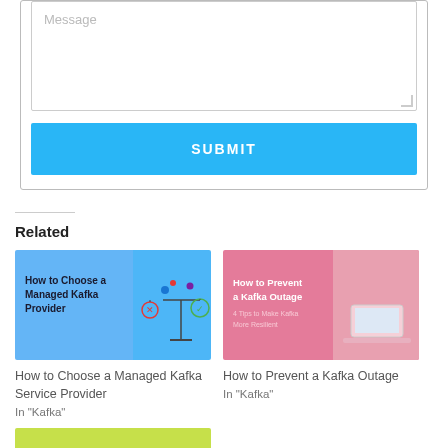[Figure (screenshot): Message textarea with placeholder text and a blue SUBMIT button below it, inside a bordered form container]
Related
[Figure (illustration): Card image for 'How to Choose a Managed Kafka Provider' with blue background and scale/balance icon]
How to Choose a Managed Kafka Service Provider
In "Kafka"
[Figure (illustration): Card image for 'How to Prevent a Kafka Outage' with pink background and laptop icon]
How to Prevent a Kafka Outage
In "Kafka"
[Figure (illustration): Partial card image with lime green background at the bottom of the page]